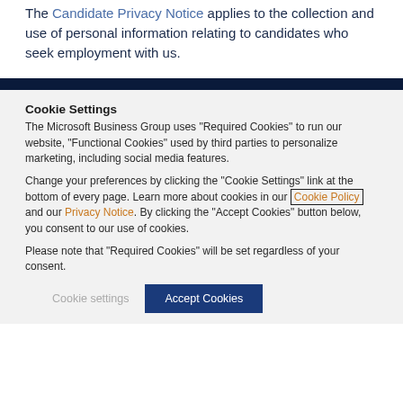The Candidate Privacy Notice applies to the collection and use of personal information relating to candidates who seek employment with us.
Cookie Settings
The Microsoft Business Group uses "Required Cookies" to run our website, "Functional Cookies" used by third parties to personalize marketing, including social media features.
Change your preferences by clicking the "Cookie Settings" link at the bottom of every page. Learn more about cookies in our Cookie Policy and our Privacy Notice. By clicking the "Accept Cookies" button below, you consent to our use of cookies.
Please note that "Required Cookies" will be set regardless of your consent.
Cookie settings | Accept Cookies